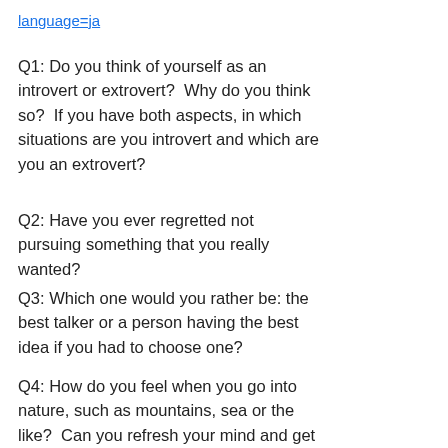language=ja
Q1: Do you think of yourself as an introvert or extrovert?  Why do you think so?  If you have both aspects, in which situations are you introvert and which are you an extrovert?
Q2: Have you ever regretted not pursuing something that you really wanted?
Q3: Which one would you rather be: the best talker or a person having the best idea if you had to choose one?
Q4: How do you feel when you go into nature, such as mountains, sea or the like?  Can you refresh your mind and get back to nature?